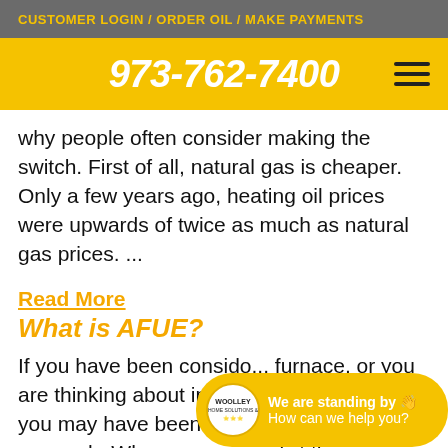CUSTOMER LOGIN / ORDER OIL / MAKE PAYMENTS
973-762-7400
why people often consider making the switch. First of all, natural gas is cheaper. Only a few years ago, heating oil prices were upwards of twice as much as natural gas prices. ...
Read More
What is AFUE?
If you have been consido... furnace, or you are thinking about installing a new furnace, you may have been doing some online research. When companies list their furnaces capabilities
[Figure (other): Woolley chat widget showing logo, 'We are standing by' message and 'How can we help you?' prompt with a chat icon button]